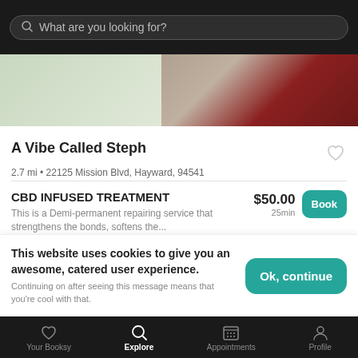What are you looking for?
[Figure (photo): Storefront photo showing exterior with green foliage on left and red/dark awning on right]
A Vibe Called Steph
2.7 mi • 22125 Mission Blvd, Hayward, 94541
CBD INFUSED TREATMENT
This is a Demi-permanent repairing service that strengthens the bonds, softens the...
$50.00
25min
PH BALANCING
This website uses cookies to give you an awesome, catered user experience. Continuing on after seeing this message means that you're cool with that.
Your Booksy | Explore | Appointments | Profile